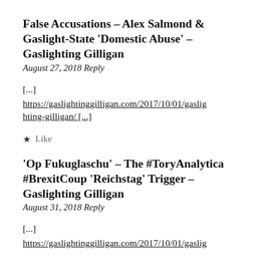False Accusations – Alex Salmond & Gaslight-State 'Domestic Abuse' – Gaslighting Gilligan
August 27, 2018 Reply
[...]
https://gaslightinggilligan.com/2017/10/01/gaslighting-gilligan/ [...]
★ Like
'Op Fukuglaschu' – The #ToryAnalytica #BrexitCoup 'Reichstag' Trigger – Gaslighting Gilligan
August 31, 2018 Reply
[...]
https://gaslightinggilligan.com/2017/10/01/gaslig